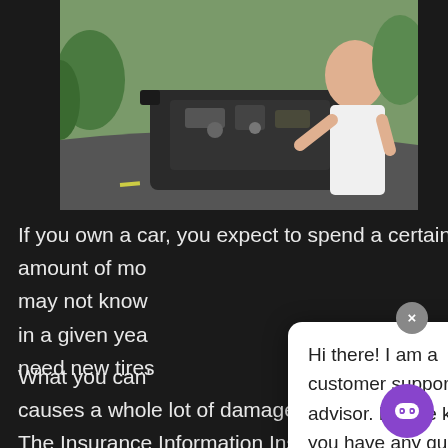[Figure (photo): Person looking under the hood of a broken-down car on a road]
If you own a car, you expect to spend a certain amount of mo[ney on it. You may not know] in a given yea[r whether you'll] need new tires[...]
What you can'[t predict is when something] causes a whole lot of damage to your car all at once. The Insurance Information Institute reports that [in] 2020, the average claim for collision damage afte[r an] accident was over $3,500. If you didn't ha[ve...]
Hi there! I am a customer support advisor. Let me know if you have any questions or need assistance, ok?